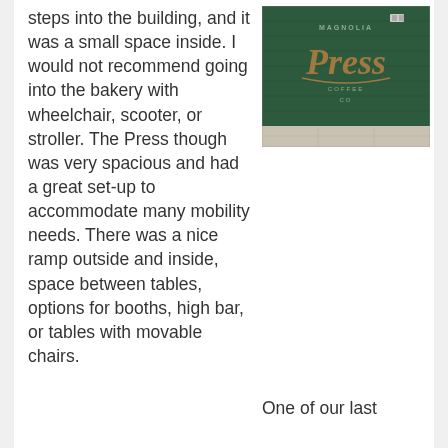steps into the building, and it was a small space inside. I would not recommend going into the bakery with wheelchair, scooter, or stroller. The Press though was very spacious and had a great set-up to accommodate many mobility needs. There was a nice ramp outside and inside, space between tables, options for booths, high bar, or tables with movable chairs.
[Figure (photo): Exterior green wall of Magnolia Press Coffee Co with decorative script lettering reading 'Press' in cursive, with 'MAGNOLIA' above and 'COFFEE CO' below.]
One of our last